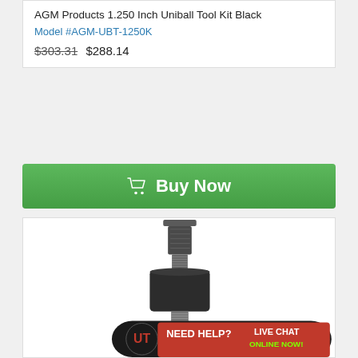AGM Products 1.250 Inch Uniball Tool Kit Black
Model #AGM-UBT-1250K
$303.31  $288.14
🛒 Buy Now
[Figure (photo): Black metal uniball tool kit product photo showing a cylindrical press tool with threaded bolt, hex shaft, and cup adapter. Bottom right shows a 'Need Help? Live Chat Online Now!' banner overlay.]